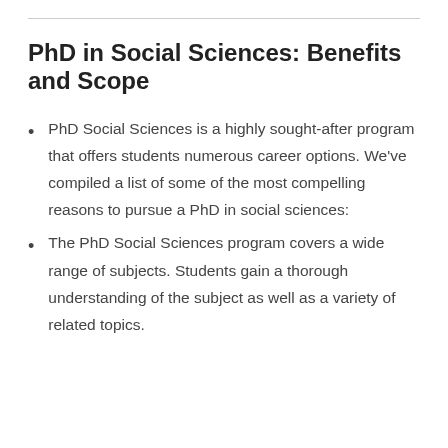PhD in Social Sciences: Benefits and Scope
PhD Social Sciences is a highly sought-after program that offers students numerous career options. We've compiled a list of some of the most compelling reasons to pursue a PhD in social sciences:
The PhD Social Sciences program covers a wide range of subjects. Students gain a thorough understanding of the subject as well as a variety of related topics.